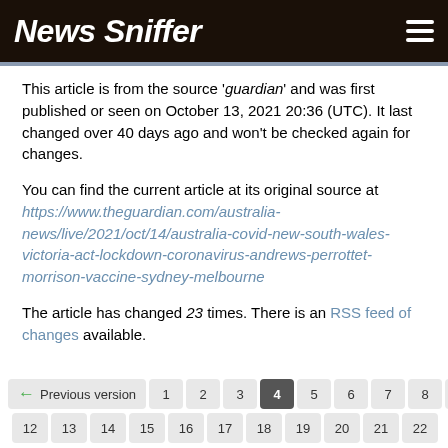News Sniffer
This article is from the source 'guardian' and was first published or seen on October 13, 2021 20:36 (UTC). It last changed over 40 days ago and won't be checked again for changes.
You can find the current article at its original source at https://www.theguardian.com/australia-news/live/2021/oct/14/australia-covid-new-south-wales-victoria-act-lockdown-coronavirus-andrews-perrottet-morrison-vaccine-sydney-melbourne
The article has changed 23 times. There is an RSS feed of changes available.
Previous version 1 2 3 4 5 6 7 8 9 10 11 12 13 14 15 16 17 18 19 20 21 22